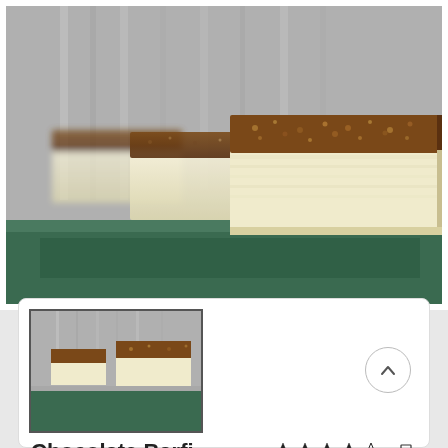[Figure (photo): Large photo of chocolate barfi pieces — layered Indian sweet with white/cream bottom layer and brown chocolate top layer, arranged on a dark reflective surface.]
[Figure (photo): Thumbnail of the same chocolate barfi photo shown inside a white card panel.]
Chocolate Barfi